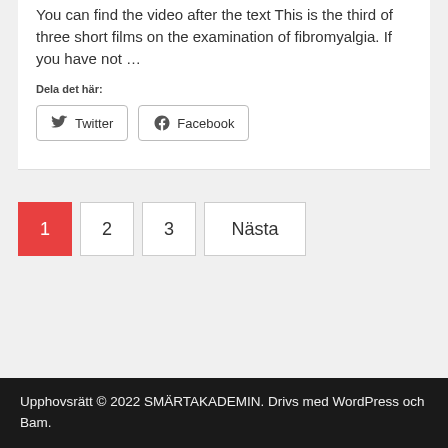You can find the video after the text This is the third of three short films on the examination of fibromyalgia. If you have not …
Dela det här:
Twitter
Facebook
1 2 3 Nästa
Upphovsrätt © 2022 SMÄRTAKADEMIN. Drivs med WordPress och Bam.